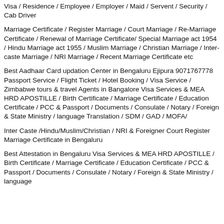Visa / Residence / Employee / Employer / Maid / Servent / Security / Cab Driver
Marriage Certificate / Register Marriage / Court Marriage / Re-Marriage Certificate / Renewal of Marriage Certificate/ Special Marriage act 1954 / Hindu Marriage act 1955 / Muslim Marriage / Christian Marriage / Inter-caste Marriage / NRI Marriage / Recent Marriage Certificate etc
Best Aadhaar Card updation Center in Bengaluru Ejipura 9071767778
Passport Service / Flight Ticket / Hotel Booking / Visa Service / Zimbabwe tours & travel Agents in Bangalore Visa Services & MEA HRD APOSTILLE / Birth Certificate / Marriage Certificate / Education Certificate / PCC & Passport / Documents / Consulate / Notary / Foreign & State Ministry / language Translation / SDM / GAD / MOFA/
Inter Caste /Hindu/Muslim/Christian / NRI & Foreigner Court Register Marriage Certificate in Bengaluru
Best Attestation in Bengaluru Visa Services & MEA HRD APOSTILLE / Birth Certificate / Marriage Certificate / Education Certificate / PCC & Passport / Documents / Consulate / Notary / Foreign & State Ministry / language